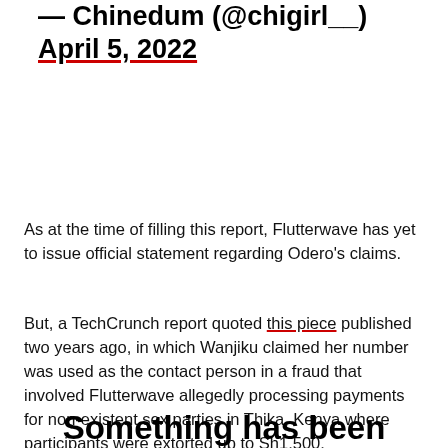— Chinedum (@chigirl__) April 5, 2022
As at the time of filling this report, Flutterwave has yet to issue official statement regarding Odero's claims.
But, a TechCrunch report quoted this piece published two years ago, in which Wanjiku claimed her number was used as the contact person in a fraud that involved Flutterwave allegedly processing payments for non-existent sex parties in Thika, Kenya where participants were extorted up to Sh1,500.
Something has been